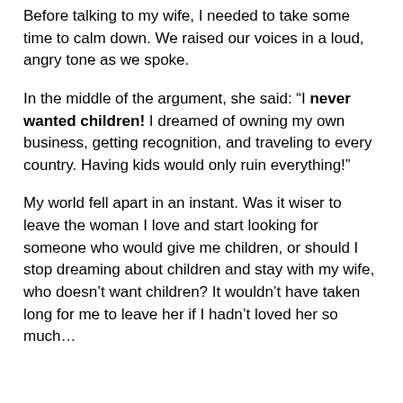Before talking to my wife, I needed to take some time to calm down. We raised our voices in a loud, angry tone as we spoke.
In the middle of the argument, she said: “I never wanted children! I dreamed of owning my own business, getting recognition, and traveling to every country. Having kids would only ruin everything!”
My world fell apart in an instant. Was it wiser to leave the woman I love and start looking for someone who would give me children, or should I stop dreaming about children and stay with my wife, who doesn’t want children? It wouldn’t have taken long for me to leave her if I hadn’t loved her so much…